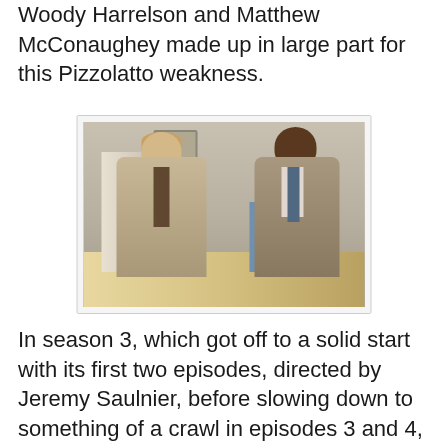Woody Harrelson and Matthew McConaughey made up in large part for this Pizzolatto weakness.
[Figure (photo): Two men in suits standing in what appears to be a gymnasium. The man on the left wears a light tan suit with a dark tie and has light hair. The man on the right is taller, darker complexioned, wearing a similar tan suit with a patterned tie, hands clasped in front.]
In season 3, which got off to a solid start with its first two episodes, directed by Jeremy Saulnier, before slowing down to something of a crawl in episodes 3 and 4, we've gotten more of the same tone.  But I must say that there are occasional signs that Pizzolato is, so to speak, expanding his palette just a